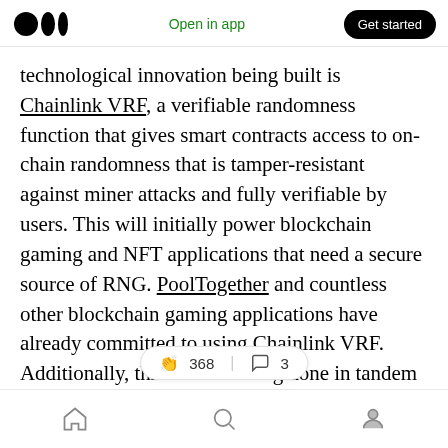Medium — Open in app | Get started
technological innovation being built is Chainlink VRF, a verifiable randomness function that gives smart contracts access to on-chain randomness that is tamper-resistant against miner attacks and fully verifiable by users. This will initially power blockchain gaming and NFT applications that need a secure source of RNG. PoolTogether and countless other blockchain gaming applications have already committed to using Chainlink VRF. Additionally, this work is being done in tandem [👏 368 | 💬 3] natures to solve data withholding attacks.
Home | Search | Profile